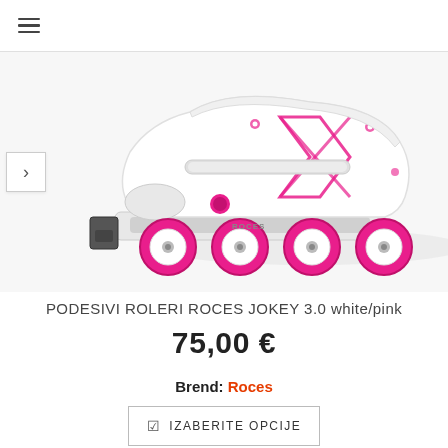≡
[Figure (photo): White and pink inline roller skates (Roces Jokey 3.0) shown from the side, with pink wheels and floral/K branding on the upper boot.]
PODESIVI ROLERI ROCES JOKEY 3.0 white/pink
75,00 €
Brend: Roces
IZABERITE OPCIJE